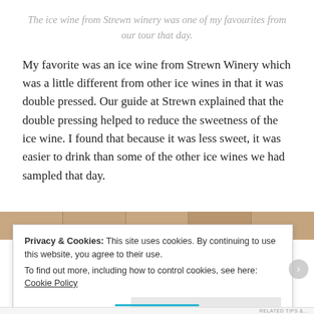The ice wine from Strewn winery was one of my favourites from our tour that day.
My favorite was an ice wine from Strewn Winery which was a little different from other ice wines in that it was double pressed. Our guide at Strewn explained that the double pressing helped to reduce the sweetness of the ice wine. I found that because it was less sweet, it was easier to drink than some of the other ice wines we had sampled that day.
[Figure (photo): Partial photo strip showing wine-related imagery in warm brown tones]
Privacy & Cookies: This site uses cookies. By continuing to use this website, you agree to their use.
To find out more, including how to control cookies, see here: Cookie Policy
Close and accept